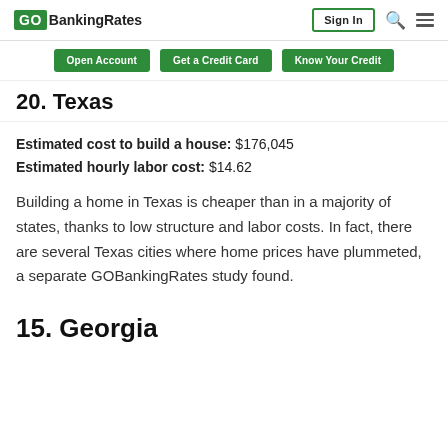GOBankingRates — Sign In
Open Account | Get a Credit Card | Know Your Credit
20. Texas
Estimated cost to build a house: $176,045
Estimated hourly labor cost: $14.62
Building a home in Texas is cheaper than in a majority of states, thanks to low structure and labor costs. In fact, there are several Texas cities where home prices have plummeted, a separate GOBankingRates study found.
15. Georgia